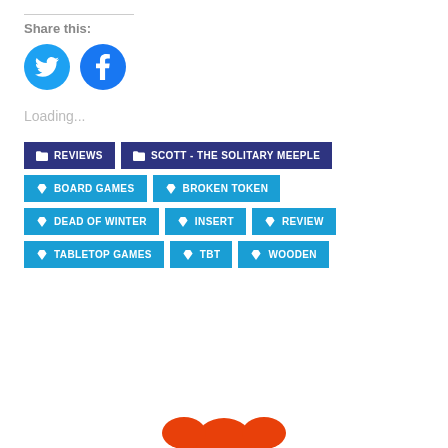Share this:
[Figure (illustration): Twitter and Facebook social share icon buttons (blue circles with white bird and f icons)]
Loading...
REVIEWS
SCOTT - THE SOLITARY MEEPLE
BOARD GAMES
BROKEN TOKEN
DEAD OF WINTER
INSERT
REVIEW
TABLETOP GAMES
TBT
WOODEN
[Figure (illustration): Red meeple figure partially visible at the bottom of the page]